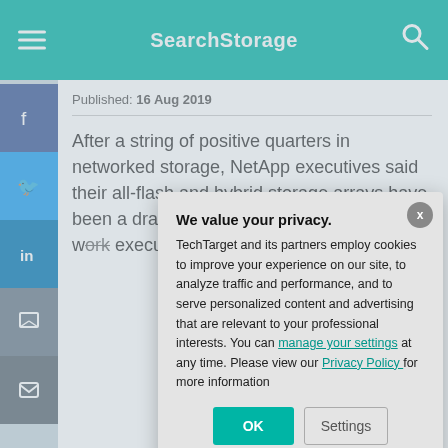SearchStorage
Published: 16 Aug 2019
After a string of positive quarters in networked storage, NetApp executives said their all-flash and hybrid storage arrays have been a drag on revenue. The legacy storage w... execution issues...
We value your privacy. TechTarget and its partners employ cookies to improve your experience on our site, to analyze traffic and performance, and to serve personalized content and advertising that are relevant to your professional interests. You can manage your settings at any time. Please view our Privacy Policy for more information